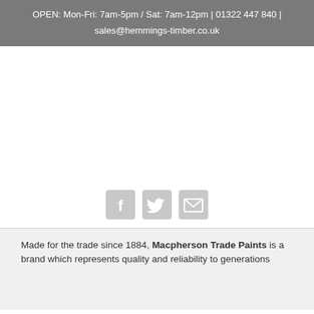OPEN: Mon-Fri: 7am-5pm / Sat: 7am-12pm | 01322 447 840 | sales@hemmings-timber.co.uk
[Figure (illustration): Three social media icons: Facebook (f logo), Twitter (bird logo), and Email (envelope icon), displayed in light gray]
Made for the trade since 1884, Macpherson Trade Paints is a brand which represents quality and reliability to generations